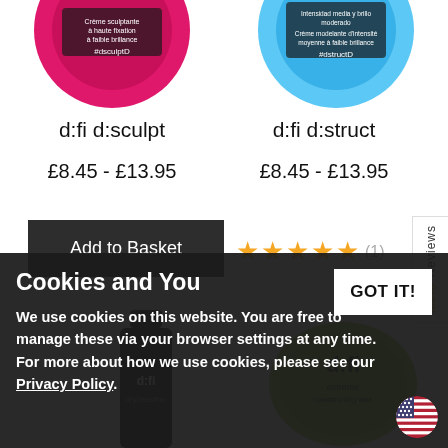[Figure (photo): Two hair product tins top: left is pink d:fi d:sculpt tin, right is blue d:fi d:struct tin, both partially cropped]
d:fi d:sculpt
d:fi d:struct
£8.45  -  £13.95
£8.45  -  £13.95
Add to Basket
★★★★★ (1)
[Figure (photo): Two d:fi hair product containers at bottom: left is a black cylindrical stick, right is a green round tin]
[Figure (logo): Feefo Reviews vertical tab on right side]
Cookies and You
We use cookies on this website. You are free to manage these via your browser settings at any time. For more about how we use cookies, please see our Privacy Policy.
GOT IT!